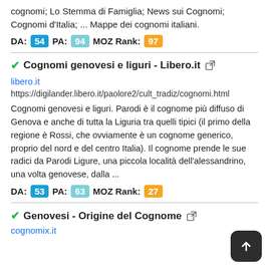cognomi; Lo Stemma di Famiglia; News sui Cognomi; Cognomi d'Italia; ... Mappe dei cognomi italiani.
DA: 54 PA: 94 MOZ Rank: 97
Cognomi genovesi e liguri - Libero.it
libero.it
https://digilander.libero.it/paolore2/cult_tradiz/cognomi.html
Cognomi genovesi e liguri. Parodi è il cognome più diffuso di Genova e anche di tutta la Liguria tra quelli tipici (il primo della regione è Rossi, che ovviamente è un cognome generico, proprio del nord e del centro Italia). Il cognome prende le sue radici da Parodi Ligure, una piccola località dell'alessandrino, una volta genovese, dalla ...
DA: 53 PA: 63 MOZ Rank: 27
Genovesi - Origine del Cognome
cognomix.it